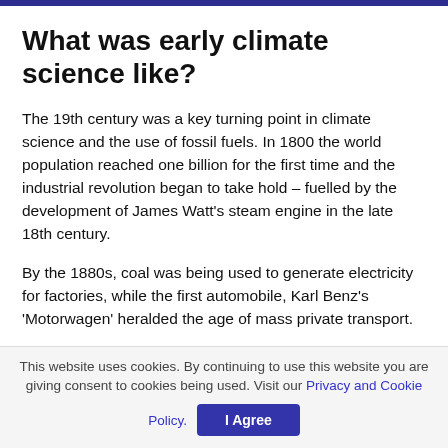What was early climate science like?
The 19th century was a key turning point in climate science and the use of fossil fuels. In 1800 the world population reached one billion for the first time and the industrial revolution began to take hold – fuelled by the development of James Watt's steam engine in the late 18th century.
By the 1880s, coal was being used to generate electricity for factories, while the first automobile, Karl Benz's 'Motorwagen' heralded the age of mass private transport.
By 1927, carbon emissions from fossil fuels and industry hit one
This website uses cookies. By continuing to use this website you are giving consent to cookies being used. Visit our Privacy and Cookie Policy.  I Agree